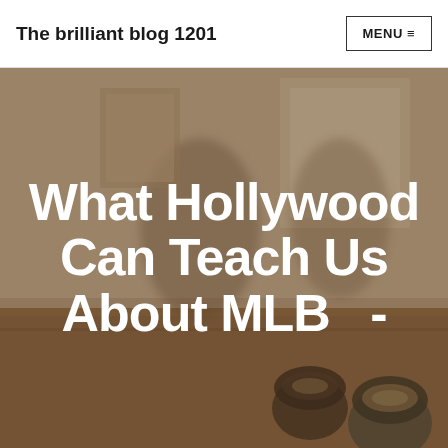The brilliant blog 1201
MENU ≡
[Figure (photo): Blurred interior cafe/workspace scene with people sitting at a wooden table, cups in the foreground, warm tones]
What Hollywood Can Teach Us About MLB -